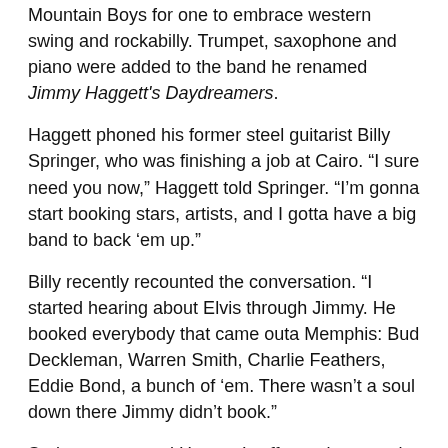Mountain Boys for one to embrace western swing and rockabilly. Trumpet, saxophone and piano were added to the band he renamed Jimmy Haggett's Daydreamers.
Haggett phoned his former steel guitarist Billy Springer, who was finishing a job at Cairo. “I sure need you now,” Haggett told Springer. “I’m gonna start booking stars, artists, and I gotta have a big band to back ‘em up.”
Billy recently recounted the conversation. “I started hearing about Elvis through Jimmy. He booked everybody that came outa Memphis: Bud Deckleman, Warren Smith, Charlie Feathers, Eddie Bond, a bunch of ‘em. There wasn’t a soul down there Jimmy didn’t book.”
Springer accepted Haggett’s offer and returned to Kennett, opening a new phase of his career, glittery already. Springer had known and accompanied fine musicians for a decade, many from Grand Ole Opry or headed there. Springer met the artists who…